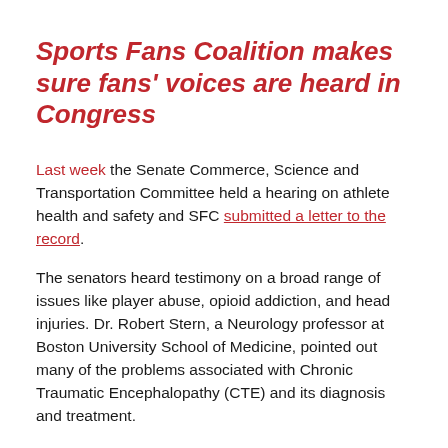Sports Fans Coalition makes sure fans' voices are heard in Congress
Last week the Senate Commerce, Science and Transportation Committee held a hearing on athlete health and safety and SFC submitted a letter to the record.
The senators heard testimony on a broad range of issues like player abuse, opioid addiction, and head injuries. Dr. Robert Stern, a Neurology professor at Boston University School of Medicine, pointed out many of the problems associated with Chronic Traumatic Encephalopathy (CTE) and its diagnosis and treatment.
One major problem is that there are more than 140 definitions of concussion and all based on the reporting